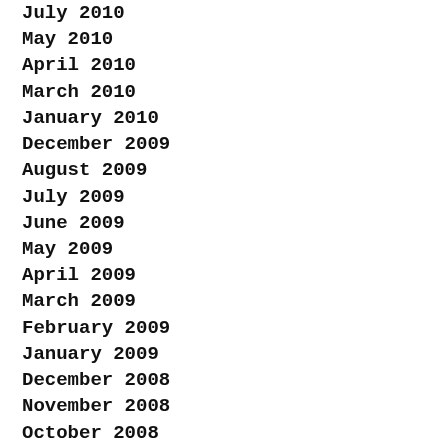July 2010
May 2010
April 2010
March 2010
January 2010
December 2009
August 2009
July 2009
June 2009
May 2009
April 2009
March 2009
February 2009
January 2009
December 2008
November 2008
October 2008
September 2008